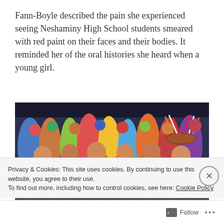Fann-Boyle described the pain she experienced seeing Neshaminy High School students smeared with red paint on their faces and their bodies. It reminded her of the oral histories she heard when a young girl.
[Figure (photo): A crowd of shirtless high school students with body paint, one wearing a Native American headdress, cheering at what appears to be a school sporting event at night.]
Privacy & Cookies: This site uses cookies. By continuing to use this website, you agree to their use. To find out more, including how to control cookies, see here: Cookie Policy
Close and accept
Follow ···